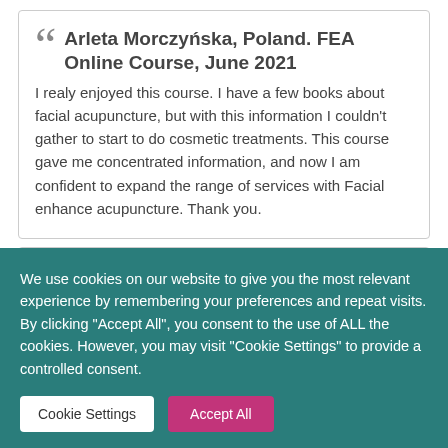Arleta Morczyńska, Poland. FEA Online Course, June 2021
I realy enjoyed this course. I have a few books about facial acupuncture, but with this information I couldn't gather to start to do cosmetic treatments. This course gave me concentrated information, and now I am confident to expand the range of services with Facial enhance acupuncture. Thank you.
We use cookies on our website to give you the most relevant experience by remembering your preferences and repeat visits. By clicking "Accept All", you consent to the use of ALL the cookies. However, you may visit "Cookie Settings" to provide a controlled consent.
Cookie Settings
Accept All